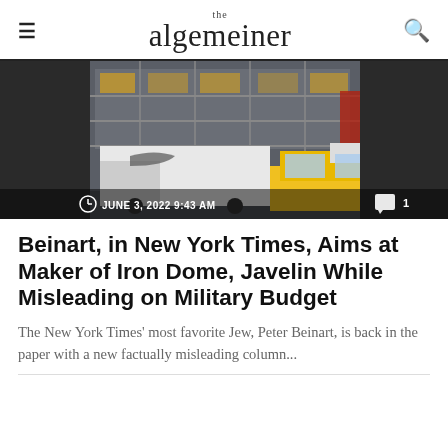the algemeiner
[Figure (photo): Street scene with a delivery truck and yellow taxi cab in front of a multi-story building with glass facade. Timestamp overlay reads JUNE 3, 2022 9:43 AM with a comment count of 1.]
Beinart, in New York Times, Aims at Maker of Iron Dome, Javelin While Misleading on Military Budget
The New York Times' most favorite Jew, Peter Beinart, is back in the paper with a new factually misleading column...